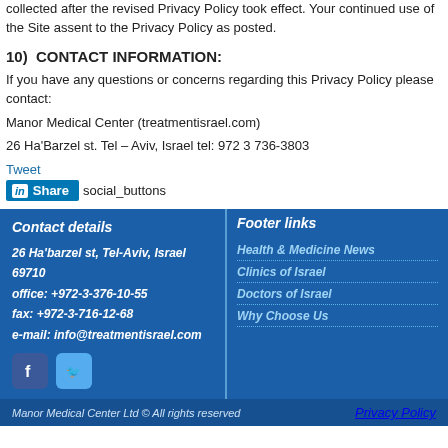collected after the revised Privacy Policy took effect. Your continued use of the Site assent to the Privacy Policy as posted.
10)  CONTACT INFORMATION:
If you have any questions or concerns regarding this Privacy Policy please contact:
Manor Medical Center (treatmentisrael.com)
26 Ha'Barzel st. Tel – Aviv, Israel tel: 972 3 736-3803
Tweet
in Share social_buttons
Contact details | Footer links | 26 Ha'barzel st, Tel-Aviv, Israel 69710 | office: +972-3-376-10-55 | fax: +972-3-716-12-68 | e-mail: info@treatmentisrael.com | Health & Medicine News | Clinics of Israel | Doctors of Israel | Why Choose Us
Manor Medical Center Ltd © All rights reserved | Privacy Policy